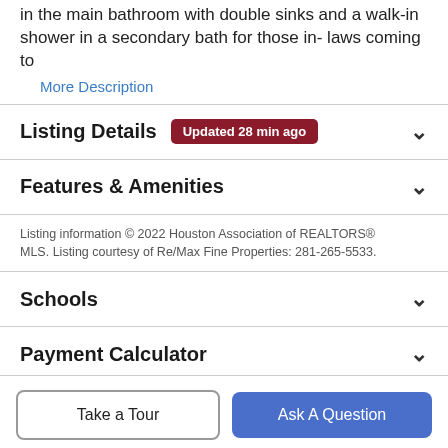in the main bathroom with double sinks and a walk-in shower in a secondary bath for those in-laws coming to
More Description
Listing Details   Updated 28 min ago
Features & Amenities
Listing information © 2022 Houston Association of REALTORS® MLS. Listing courtesy of Re/Max Fine Properties: 281-265-5533.
Schools
Payment Calculator
Take a Tour
Ask A Question